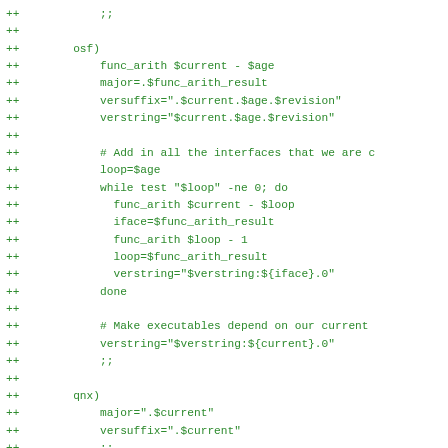++            ;;
++
++        osf)
++            func_arith $current - $age
++            major=.$func_arith_result
++            versuffix=".$current.$age.$revision"
++            verstring="$current.$age.$revision"
++
++            # Add in all the interfaces that we are c
++            loop=$age
++            while test "$loop" -ne 0; do
++              func_arith $current - $loop
++              iface=$func_arith_result
++              func_arith $loop - 1
++              loop=$func_arith_result
++              verstring="$verstring:${iface}.0"
++            done
++
++            # Make executables depend on our current
++            verstring="$verstring:${current}.0"
++            ;;
++
++        qnx)
++            major=".$current"
++            versuffix=".$current"
++            ;;
++
++        sunos)
++            major=".$current"
++            versuffix=".$current.$revision"